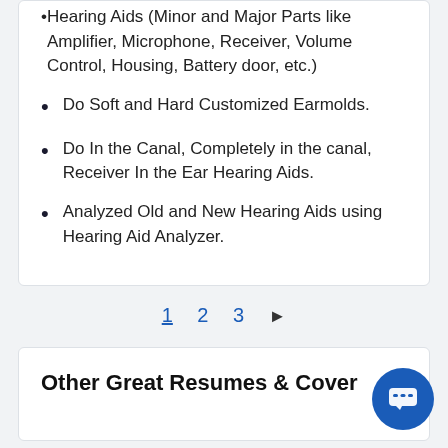Hearing Aids (Minor and Major Parts like Amplifier, Microphone, Receiver, Volume Control, Housing, Battery door, etc.)
Do Soft and Hard Customized Earmolds.
Do In the Canal, Completely in the canal, Receiver In the Ear Hearing Aids.
Analyzed Old and New Hearing Aids using Hearing Aid Analyzer.
1  2  3  ▶
Other Great Resumes & Cover